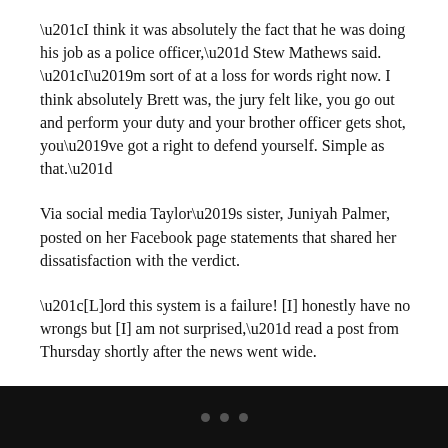“I think it was absolutely the fact that he was doing his job as a police officer,” Stew Mathews said. “I’m sort of at a loss for words right now. I think absolutely Brett was, the jury felt like, you go out and perform your duty and your brother officer gets shot, you’ve got a right to defend yourself. Simple as that.”
Via social media Taylor’s sister, Juniyah Palmer, posted on her Facebook page statements that shared her dissatisfaction with the verdict.
“[L]ord this system is a failure! [I] honestly have no wrongs but [I] am not surprised,” read a post from Thursday shortly after the news went wide.
She added another statement reading, “it’s like they constantly walk over my sister! [I]’m so tired of this injustice ass system!! [H]ow do ANYBODY find this man not guilty on EVERYTHING?
• • •